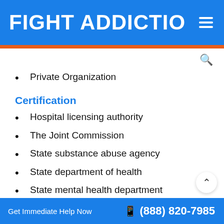FIGHT ADDICTIO ≡
Private Organization
Certification
Hospital licensing authority
The Joint Commission
State substance abuse agency
State department of health
State mental health department
Get Immediate Help Now  (888) 820-7985